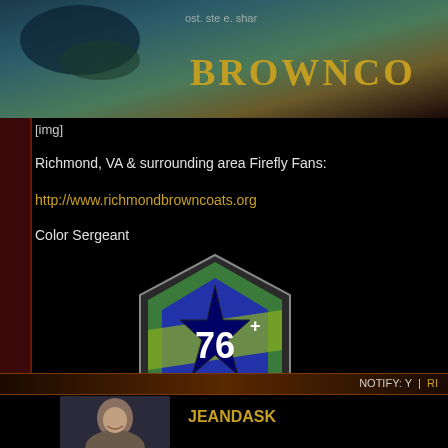[Figure (photo): Top banner showing Browncoats website header with teal/gold color scheme and 'BROWNCO' text visible]
[img]
Richmond, VA & surrounding area Firefly Fans:
http://www.richmondbrowncoats.org
Color Sergeant
[Figure (logo): Hexagonal badge/emblem with '76' text and star design in green, blue, and black colors - 76th Battalion insignia]
[img]                          [/img]
http://76thbattalion.homestead.com/index.html
NOTIFY: Y  |  RI
JEANDASK
[Figure (photo): User avatar photo showing a woman smiling]